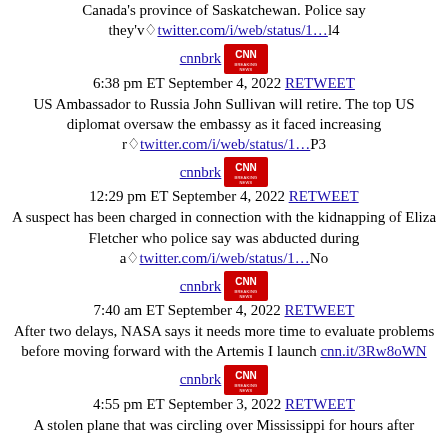Canada's province of Saskatchewan. Police say they'vâtwitter.com/i/web/status/1…l4
[Figure (logo): CNN Breaking News logo]
cnnbrk
6:38 pm ET September 4, 2022 RETWEET
US Ambassador to Russia John Sullivan will retire. The top US diplomat oversaw the embassy as it faced increasing râtwitter.com/i/web/status/1…P3
[Figure (logo): CNN Breaking News logo]
cnnbrk
12:29 pm ET September 4, 2022 RETWEET
A suspect has been charged in connection with the kidnapping of Eliza Fletcher who police say was abducted during aâtwitter.com/i/web/status/1…No
[Figure (logo): CNN Breaking News logo]
cnnbrk
7:40 am ET September 4, 2022 RETWEET
After two delays, NASA says it needs more time to evaluate problems before moving forward with the Artemis I launch cnn.it/3Rw8oWN
[Figure (logo): CNN Breaking News logo]
cnnbrk
4:55 pm ET September 3, 2022 RETWEET
A stolen plane that was circling over Mississippi for hours after